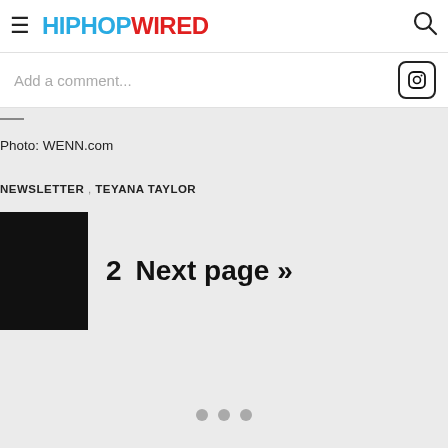HIPHOPWIRED
Add a comment...
Photo: WENN.com
NEWSLETTER , TEYANA TAYLOR
2  Next page »